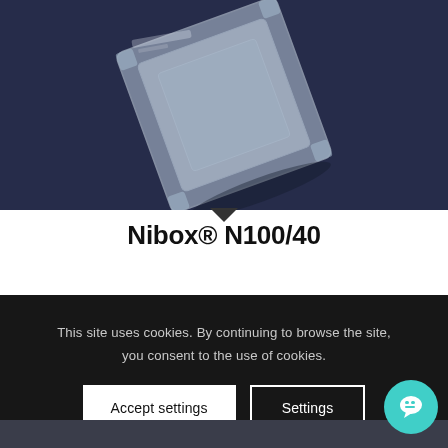[Figure (photo): A transparent/clear square chip or IC component photographed on a dark navy/blue-grey background, tilted at an angle. The component appears to be a small square semiconductor package with a transparent lid.]
Nibox® N100/40
This site uses cookies. By continuing to browse the site, you consent to the use of cookies.